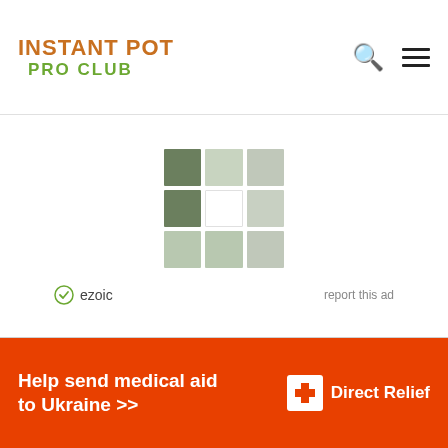INSTANT POT PRO CLUB
[Figure (logo): Ezoic ad placeholder with 3x3 grid of green/white squares, ezoic label and report this ad link]
Help send medical aid to Ukraine >> Direct Relief